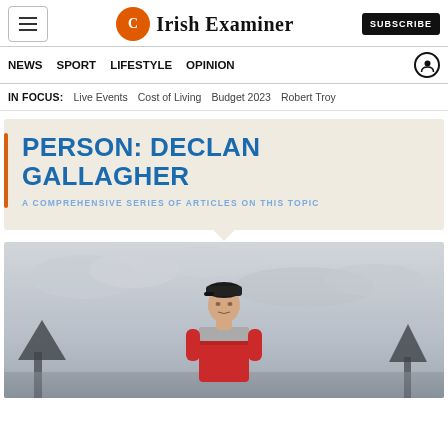Irish Examiner — SUBSCRIBE
NEWS  SPORT  LIFESTYLE  OPINION
IN FOCUS:  Live Events  Cost of Living  Budget 2023  Robert Troy
PERSON: DECLAN GALLAGHER
A COMPREHENSIVE SERIES OF ARTICLES ON THIS TOPIC
[Figure (photo): A man wearing a cap and red/grey sports jersey standing outdoors against a cloudy grey sky]